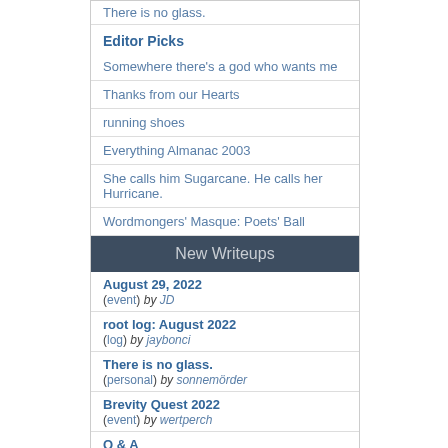There is no glass.
Editor Picks
Somewhere there's a god who wants me
Thanks from our Hearts
running shoes
Everything Almanac 2003
She calls him Sugarcane. He calls her Hurricane.
Wordmongers' Masque: Poets' Ball
New Writeups
August 29, 2022
(event) by JD
root log: August 2022
(log) by jaybonci
There is no glass.
(personal) by sonnemörder
Brevity Quest 2022
(event) by wertperch
Q & A
(poetry) by lostcauser
Fishing with Dahmer
(poetry) by lostcauser
August 26, 2022
(log) by dmandave
tilt
(review) by JD